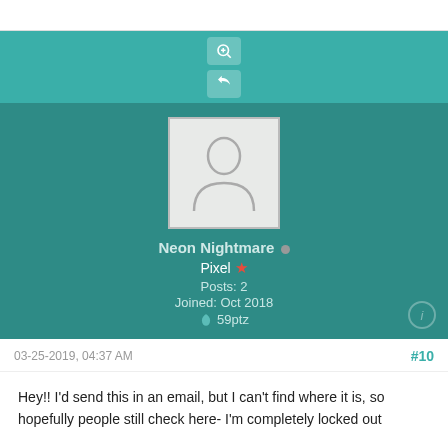[Figure (screenshot): Forum post screenshot showing teal action buttons (zoom and reply icons), a user profile card with avatar, username Neon Nightmare, rank Pixel, Posts: 2, Joined: Oct 2018, 59ptz, and a post dated 03-25-2019 04:37 AM numbered #10 with post text beginning 'Hey!! I'd send this in an email...']
Neon Nightmare
Pixel
Posts: 2
Joined: Oct 2018
59ptz
03-25-2019, 04:37 AM
#10
Hey!! I'd send this in an email, but I can't find where it is, so hopefully people still check here- I'm completely locked out